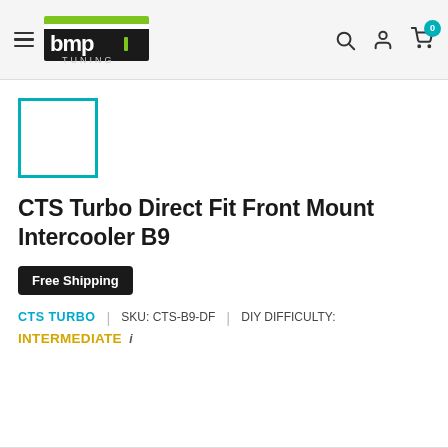BMP Tuning navigation header with logo, search, account, and cart icons
[Figure (logo): BMP Tuning logo with green and white stylized text on dark background]
[Figure (photo): Product thumbnail placeholder — empty white box with teal border]
CTS Turbo Direct Fit Front Mount Intercooler B9
Free Shipping
CTS TURBO | SKU: CTS-B9-DF | DIY DIFFICULTY: INTERMEDIATE i